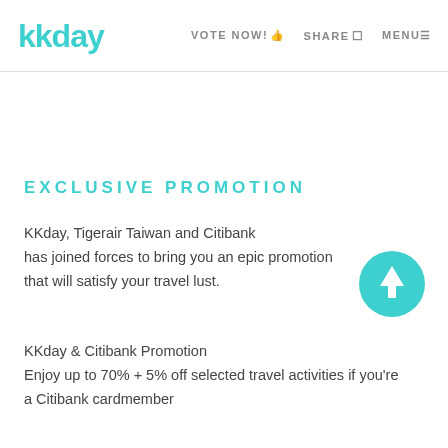kkday  VOTE NOW!  SHARE  MENU
EXCLUSIVE PROMOTION
KKday, Tigerair Taiwan and Citibank has joined forces to bring you an epic promotion that will satisfy your travel lust.
KKday & Citibank Promotion
Enjoy up to 70% + 5% off selected travel activities if you're a Citibank cardmember